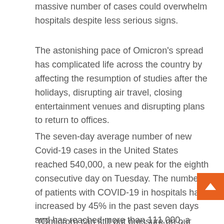massive number of cases could overwhelm hospitals despite less serious signs.
The astonishing pace of Omicron's spread has complicated life across the country by affecting the resumption of studies after the holidays, disrupting air travel, closing entertainment venues and disrupting plans to return to offices.
The seven-day average number of new Covid-19 cases in the United States reached 540,000, a new peak for the eighth consecutive day on Tuesday. The number of patients with COVID-19 in hospitals has increased by 45% in the past seven days and has reached more than 111,000, a number not seen since January 2021.
(Omicron) can still put pressure on our hospital